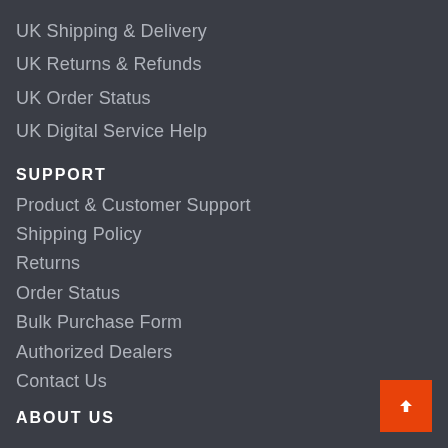UK Shipping & Delivery
UK Returns & Refunds
UK Order Status
UK Digital Service Help
SUPPORT
Product & Customer Support
Shipping Policy
Returns
Order Status
Bulk Purchase Form
Authorized Dealers
Contact Us
ABOUT US